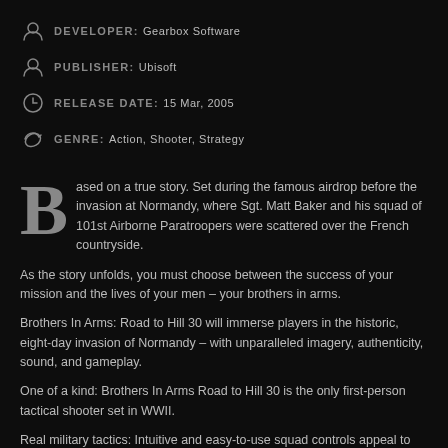DEVELOPER: Gearbox Software
PUBLISHER: Ubisoft
RELEASE DATE: 15 Mar, 2005
GENRE: Action, Shooter, Strategy
Based on a true story. Set during the famous airdrop before the invasion at Normandy, where Sgt. Matt Baker and his squad of 101st Airborne Paratroopers were scattered over the French countryside.
As the story unfolds, you must choose between the success of your mission and the lives of your men – your brothers in arms.
Brothers In Arms: Road to Hill 30 will immerse players in the historic, eight-day invasion of Normandy – with unparalleled imagery, authenticity, sound, and gameplay.
One of a kind: Brothers In Arms Road to Hill 30 is the only first-person tactical shooter set in WWII.
Real military tactics: Intuitive and easy-to-use squad controls appeal to both the hardcore and mainstream gaming audience.
Real soldiers: Featuring a cast of more than 20 characters, each with a unique